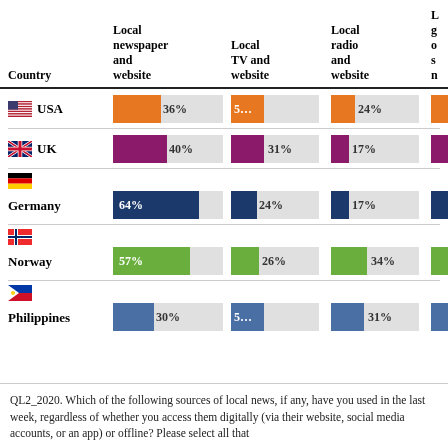| Country | Local newspaper and website | Local TV and website | Local radio and website | L… |
| --- | --- | --- | --- | --- |
| USA | 36% | 5… | 24% |  |
| UK | 40% | 31% | 17% |  |
| Germany | 64% | 24% | 17% |  |
| Norway | 57% | 26% | 34% |  |
| Philippines | 30% | 5… | 31% |  |
QL2_2020. Which of the following sources of local news, if any, have you used in the last week, regardless of whether you access them digitally (via their website, social media accounts, or an app) or offline? Please select all that